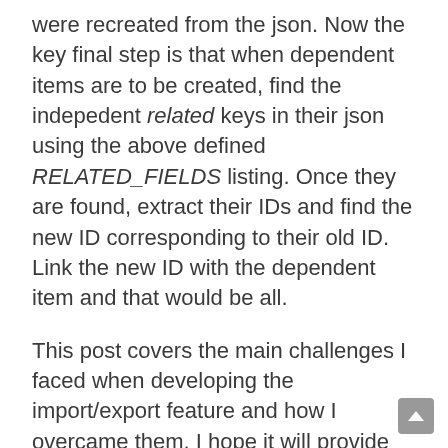were recreated from the json. Now the key final step is that when dependent items are to be created, find the indepedent related keys in their json using the above defined RELATED_FIELDS listing. Once they are found, extract their IDs and find the new ID corresponding to their old ID. Link the new ID with the dependent item and that would be all.
This post covers the main challenges I faced when developing the import/export feature and how I overcame them. I hope it will provide some help when you are dealing with